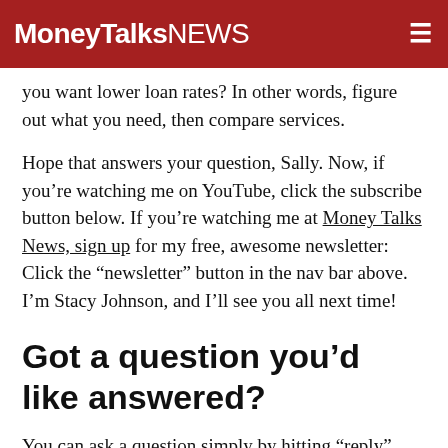MoneyTalksNews
you want lower loan rates? In other words, figure out what you need, then compare services.
Hope that answers your question, Sally. Now, if you’re watching me on YouTube, click the subscribe button below. If you’re watching me at Money Talks News, sign up for my free, awesome newsletter: Click the “newsletter” button in the nav bar above. I’m Stacy Johnson, and I’ll see you all next time!
Got a question you’d like answered?
You can ask a question simply by hitting “reply” email newsletter, just as you would with any email in